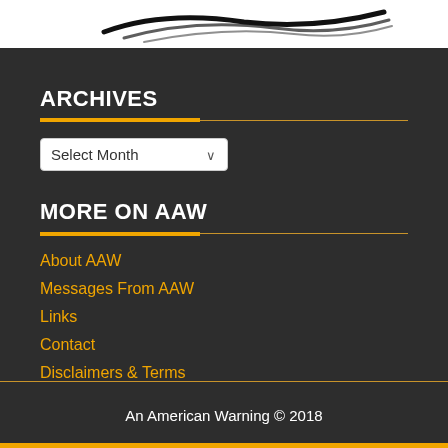[Figure (logo): Website logo banner with black brushstroke/swoosh design on white background]
ARCHIVES
Select Month (dropdown)
MORE ON AAW
About AAW
Messages From AAW
Links
Contact
Disclaimers & Terms
An American Warning © 2018